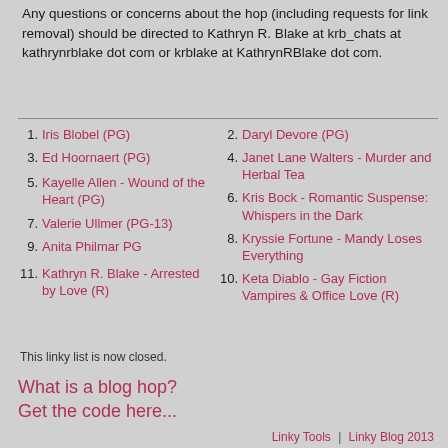Any questions or concerns about the hop (including requests for link removal) should be directed to Kathryn R. Blake at krb_chats at kathrynrblake dot com or krblake at KathrynRBlake dot com.
1. Iris Blobel (PG)
2. Daryl Devore (PG)
3. Ed Hoornaert (PG)
4. Janet Lane Walters - Murder and Herbal Tea
5. Kayelle Allen - Wound of the Heart (PG)
6. Kris Bock - Romantic Suspense: Whispers in the Dark
7. Valerie Ullmer (PG-13)
8. Kryssie Fortune - Mandy Loses Everything
9. Anita Philmar PG
10. Keta Diablo - Gay Fiction Vampires & Office Love (R)
11. Kathryn R. Blake - Arrested by Love (R)
This linky list is now closed.
What is a blog hop?
Get the code here...
Linky Tools  |  Linky Blog 2013